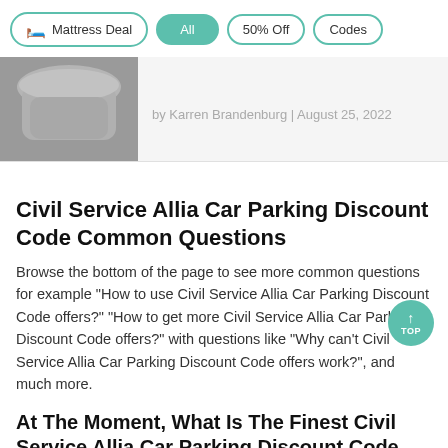Mattress Deal | All | 50% Off | Codes
[Figure (photo): Partial view of a gray ceramic toilet, cropped article card thumbnail]
by Karren Brandenburg | August 25, 2022
Civil Service Allia Car Parking Discount Code Common Questions
Browse the bottom of the page to see more common questions for example "How to use Civil Service Allia Car Parking Discount Code offers?" "How to get more Civil Service Allia Car Parking Discount Code offers?" with questions like "Why can't Civil Service Allia Car Parking Discount Code offers work?", and much more.
At The Moment, What Is The Finest Civil Service Allia Car Parking Discount Code Discount?